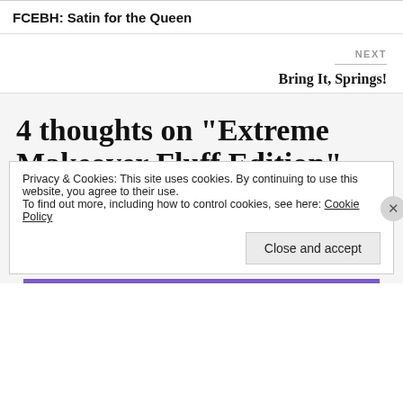FCEBH: Satin for the Queen
NEXT
Bring It, Springs!
4 thoughts on “Extreme Makeover Fluff Edition”
Privacy & Cookies: This site uses cookies. By continuing to use this website, you agree to their use.
To find out more, including how to control cookies, see here: Cookie Policy
Close and accept